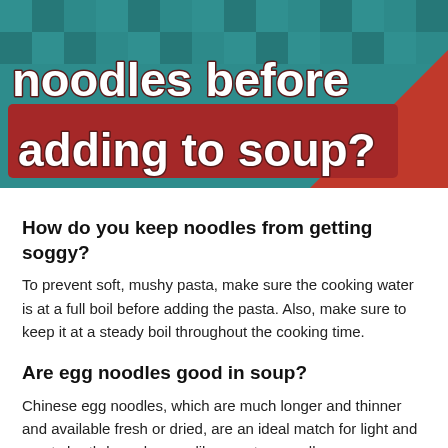[Figure (illustration): Teal pixel-style banner graphic with white bold text reading 'noodles before adding to soup?' on a dark red rectangular background, with a red triangle in the bottom-right corner.]
How do you keep noodles from getting soggy?
To prevent soft, mushy pasta, make sure the cooking water is at a full boil before adding the pasta. Also, make sure to keep it at a steady boil throughout the cooking time.
Are egg noodles good in soup?
Chinese egg noodles, which are much longer and thinner and available fresh or dried, are an ideal match for light and meaty broth-based soups like won ton noodle soup.
Can I cook noodles in chicken broth?